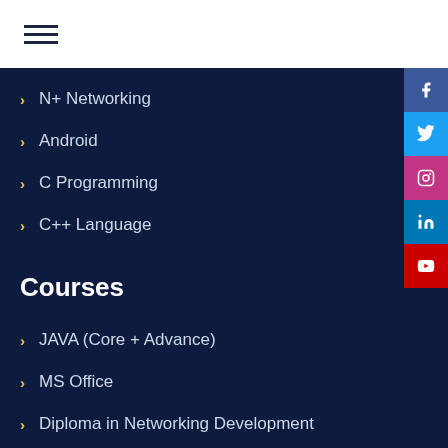[Figure (other): Hamburger menu icon with three horizontal lines]
N+ Networking
Android
C Programming
C++ Language
Courses
JAVA (Core + Advance)
MS Office
Diploma in Networking Development
Diploma in Cyber Security Development